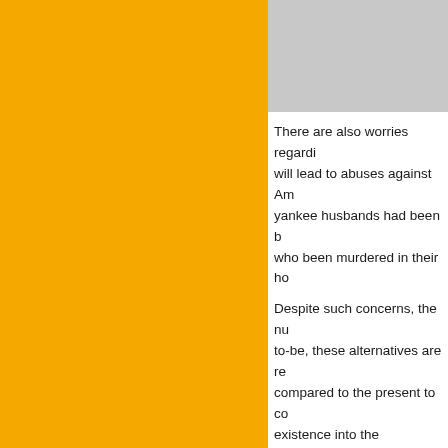[Figure (illustration): Orange/yellow decorative left panel background]
[Figure (photo): Gray image box in upper right area]
There are also worries regarding will lead to abuses against Am yankee husbands had been b who been murdered in their ho
Despite such concerns, the nu to-be, these alternatives are re compared to the present to co existence into the community. avenues open to you when co you did. Therefore will they wi
Tags: Publicar
[Figure (illustration): Ornamental flourish / decorative divider in olive/gold color]
Posted in DE CATEGORIA on 11/3
admin
There Refer to This Article are